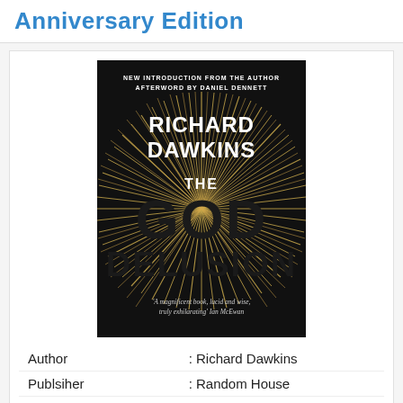Anniversary Edition
[Figure (photo): Book cover of 'The God Delusion' by Richard Dawkins. Black background with golden starburst pattern. White text reads 'RICHARD DAWKINS THE GOD DELUSION'. Top text: 'NEW INTRODUCTION FROM THE AUTHOR AFTERWORD BY DANIEL DENNETT'. Bottom italic quote: 'A magnificent book, lucid and wise, truly exhilarating' Ian McEwan.]
| Author | : Richard Dawkins |
| Publsiher | : Random House |
| Total Pages | : 496 |